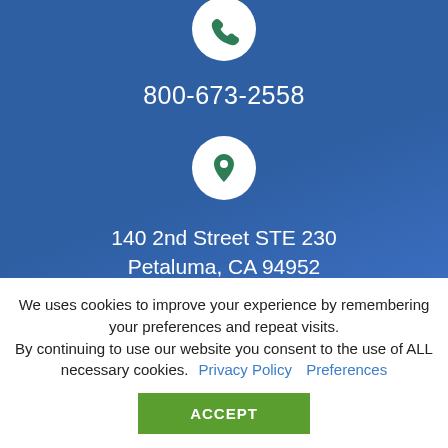800-673-2558
140 2nd Street STE 230
Petaluma, CA 94952
We uses cookies to improve your experience by remembering your preferences and repeat visits.
By continuing to use our website you consent to the use of ALL necessary cookies. Privacy Policy   Preferences
ACCEPT